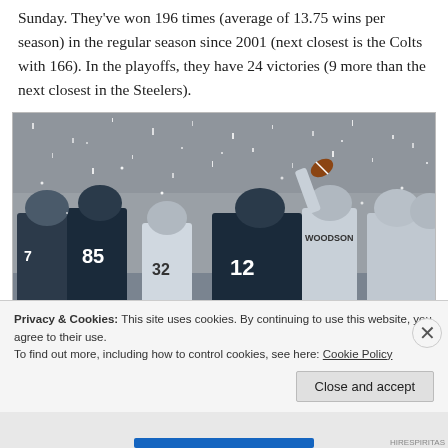Sunday. They've won 196 times (average of 13.75 wins per season) in the regular season since 2001 (next closest is the Colts with 166). In the playoffs, they have 24 victories (9 more than the next closest in the Steelers).
[Figure (photo): Football players on a snowy field during a game, player #12 in dark jersey prominent in foreground, player #85 visible on left, player #32 in white jersey visible, snowing heavily]
Privacy & Cookies: This site uses cookies. By continuing to use this website, you agree to their use.
To find out more, including how to control cookies, see here: Cookie Policy